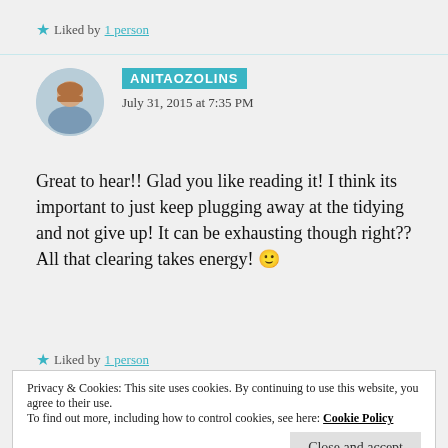★ Liked by 1 person
ANITAOZOLINS
July 31, 2015 at 7:35 PM
Great to hear!! Glad you like reading it! I think its important to just keep plugging away at the tidying and not give up! It can be exhausting though right?? All that clearing takes energy! 🙂
★ Liked by 1 person
Privacy & Cookies: This site uses cookies. By continuing to use this website, you agree to their use.
To find out more, including how to control cookies, see here: Cookie Policy
Close and accept